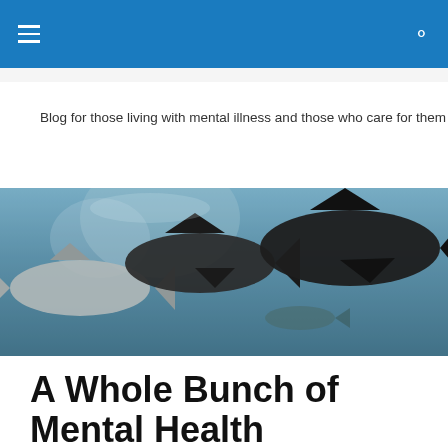Blog for those living with mental illness and those who care for them
[Figure (photo): Underwater photograph showing multiple large dark fish (possibly tuna or similar large fish) swimming in blue-gray water, viewed from the side.]
A Whole Bunch of Mental Health Recovery Philosophy and Self Care Wisdom